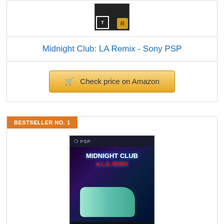[Figure (photo): Game box cover for Midnight Club: LA Remix for Sony PSP, showing ESRB rating T badge and Rockstar Games logo on dark background]
Midnight Club: LA Remix - Sony PSP
Check price on Amazon
BESTSELLER NO. 1
[Figure (photo): Large game box cover for Midnight Club: LA Remix for PSP showing PSP logo, game title, a colorful car on dark city background, ESRB T rating and Rockstar Games logo]